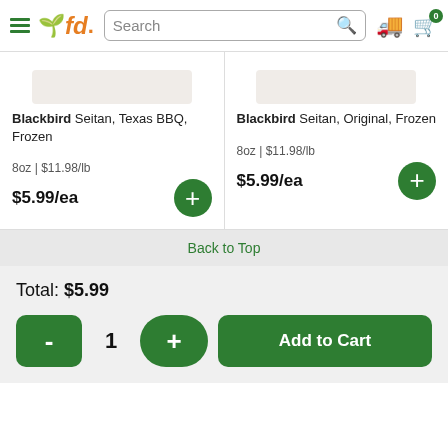[Figure (screenshot): FreshDirect website header with hamburger menu, leaf-fd logo, search bar, delivery truck icon, and cart icon showing 0 items]
Blackbird Seitan, Texas BBQ, Frozen
8oz | $11.98/lb
$5.99/ea
Blackbird Seitan, Original, Frozen
8oz | $11.98/lb
$5.99/ea
Back to Top
Total: $5.99
1
Add to Cart